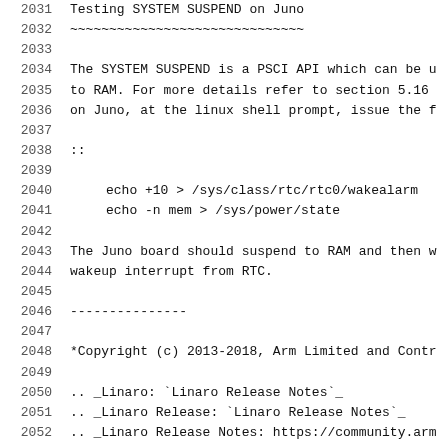2031  Testing SYSTEM SUSPEND on Juno
2032  ~~~~~~~~~~~~~~~~~~~~~~~~~~~~~~
2033
2034  The SYSTEM SUSPEND is a PSCI API which can be u
2035  to RAM. For more details refer to section 5.16
2036  on Juno, at the linux shell prompt, issue the f
2037
2038  ::
2039
2040      echo +10 > /sys/class/rtc/rtc0/wakealarm
2041      echo -n mem > /sys/power/state
2042
2043  The Juno board should suspend to RAM and then w
2044  wakeup interrupt from RTC.
2045
2046  ---------------
2047
2048  *Copyright (c) 2013-2018, Arm Limited and Contr
2049
2050  .. _Linaro: `Linaro Release Notes`_
2051  .. _Linaro Release: `Linaro Release Notes`_
2052  .. _Linaro Release Notes: https://community.arm